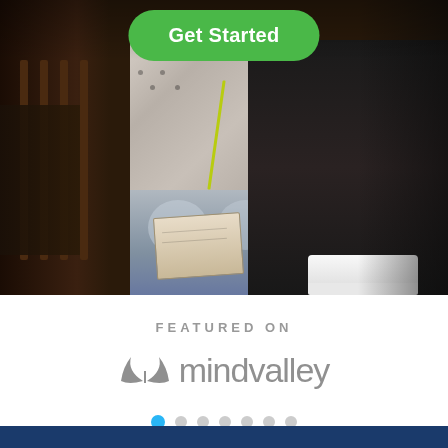[Figure (photo): Audience seated in chairs, one woman in center holding a book/notebook, wearing a patterned top and grey pants with a lanyard, wooden floor visible on right. Green 'Get Started' button overlaid at top center.]
Get Started
FEATURED ON
[Figure (logo): Mindvalley logo: grey leaf icon and grey lowercase text 'mindvalley']
[Figure (other): Carousel pagination dots: 7 dots, first one blue/active, rest grey]